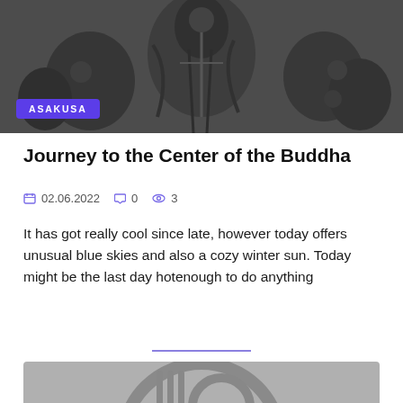[Figure (photo): Black and white photograph of Buddha statues in Asakusa, multiple figures in a temple setting]
ASAKUSA
Journey to the Center of the Buddha
02.06.2022   0   3
It has got really cool since late, however today offers unusual blue skies and also a cozy winter sun. Today might be the last day hotenough to do anything
[Figure (logo): Circular logo with stylized text or icon, gray tones, partially visible at bottom of page]